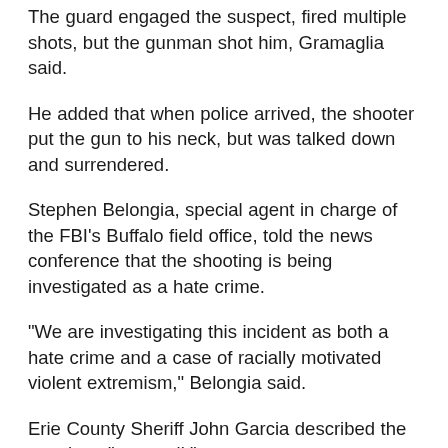The guard engaged the suspect, fired multiple shots, but the gunman shot him, Gramaglia said.
He added that when police arrived, the shooter put the gun to his neck, but was talked down and surrendered.
Stephen Belongia, special agent in charge of the FBI's Buffalo field office, told the news conference that the shooting is being investigated as a hate crime.
"We are investigating this incident as both a hate crime and a case of racially motivated violent extremism," Belongia said.
Erie County Sheriff John Garcia described the attack as "pure evil."
"It was straight up racially motivated hate crime from somebody outside of our community," he said.
When asked what information led authorities to term the attack a hate crime, Erie County District Attorney John Flynn said they had evidence indicating "racial animosity," but